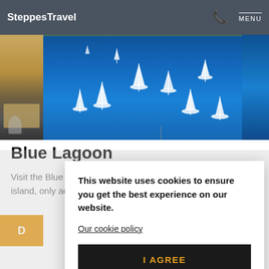SteppesTravel | MENU
[Figure (photo): Aerial view of sailboats moored in blue lagoon waters near Šolta island, with a partial view of a dining table on the left and blue water on the right]
Blue Lagoon
Visit the Blue Lagoon by Šolta island, only accessible by boat
This website uses cookies to ensure you get the best experience on our website.
Our cookie policy
I AGREE